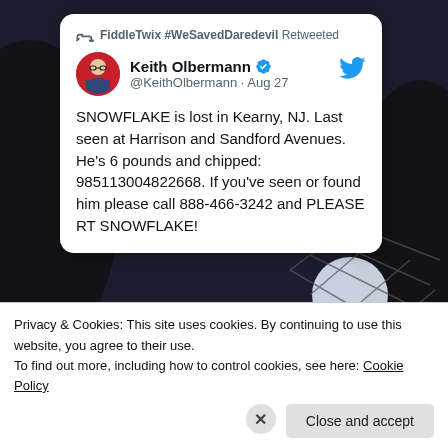[Figure (screenshot): Screenshot of a tweet by Keith Olbermann retweeted by FiddleTwix #WeSavedDaredevil, with a cookie consent banner overlaid at the bottom.]
FiddleTwix #WeSavedDaredevil Retweeted
Keith Olbermann @KeithOlbermann · Aug 27
SNOWFLAKE is lost in Kearny, NJ. Last seen at Harrison and Sandford Avenues. He's 6 pounds and chipped: 985113004822668. If you've seen or found him please call 888-466-3242 and PLEASE RT SNOWFLAKE!
RECENT COMMENTS
Privacy & Cookies: This site uses cookies. By continuing to use this website, you agree to their use.
To find out more, including how to control cookies, see here: Cookie Policy